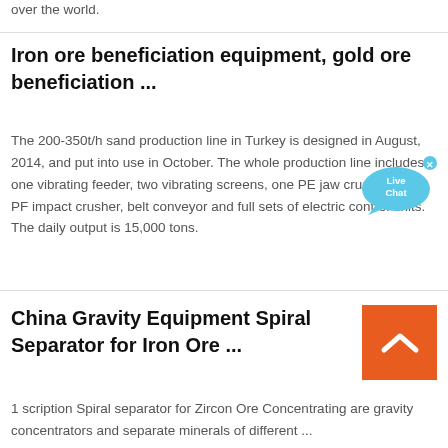over the world.
Iron ore beneficiation equipment, gold ore beneficiation ...
The 200-350t/h sand production line in Turkey is designed in August, 2014, and put into use in October. The whole production line includes one vibrating feeder, two vibrating screens, one PE jaw crusher, one PF impact crusher, belt conveyor and full sets of electric control units. The daily output is 15,000 tons.
China Gravity Equipment Spiral Separator for Iron Ore ...
1 scription Spiral separator for Zircon Ore Concentrating are gravity concentrators and separate minerals of different ...